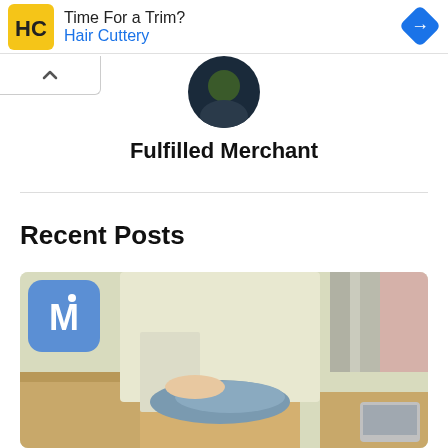[Figure (screenshot): Hair Cuttery advertisement banner with HC logo, text 'Time For a Trim?' and 'Hair Cuttery' in blue, and a blue diamond navigation arrow icon on the right]
[Figure (photo): Circular profile photo of a person partially visible at the top]
Fulfilled Merchant
Recent Posts
[Figure (photo): Photo of a person in a light jacket packing folded clothing into open cardboard boxes, with a blue M logo overlay in the top left corner]